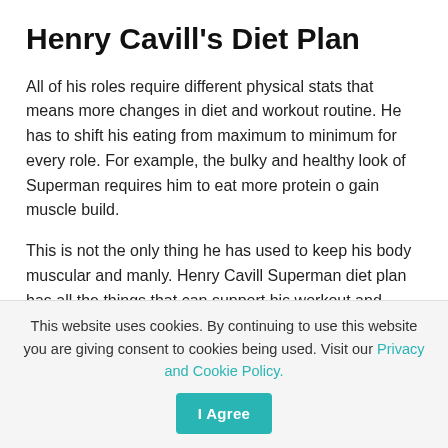Henry Cavill's Diet Plan
All of his roles require different physical stats that means more changes in diet and workout routine. He has to shift his eating from maximum to minimum for every role. For example, the bulky and healthy look of Superman requires him to eat more protein o gain muscle build.
This is not the only thing he has used to keep his body muscular and manly. Henry Cavill Superman diet plan has all the things that can support his workout and works synergistically to boost muscle health and fitness.
Breakfas…
This website uses cookies. By continuing to use this website you are giving consent to cookies being used. Visit our Privacy and Cookie Policy.